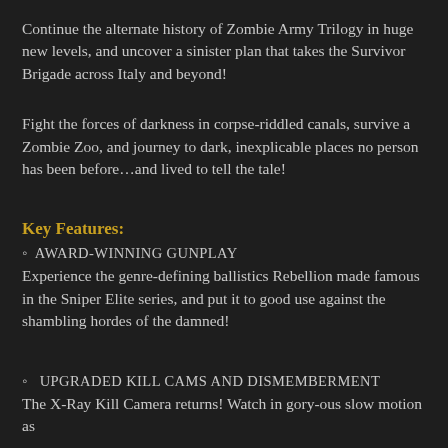Continue the alternate history of Zombie Army Trilogy in huge new levels, and uncover a sinister plan that takes the Survivor Brigade across Italy and beyond!
Fight the forces of darkness in corpse-riddled canals, survive a Zombie Zoo, and journey to dark, inexplicable places no person has been before…and lived to tell the tale!
Key Features:
◦ AWARD-WINNING GUNPLAY
Experience the genre-defining ballistics Rebellion made famous in the Sniper Elite series, and put it to good use against the shambling hordes of the damned!
◦  UPGRADED KILL CAMS AND DISMEMBERMENT
The X-Ray Kill Camera returns! Watch in gory-ous slow motion as